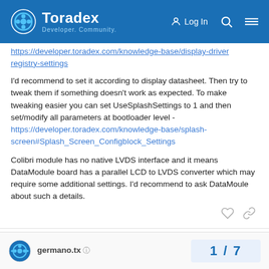Toradex Developer Community — Log In
https://developer.toradex.com/knowledge-base/display-driver registry-settings
I'd recommend to set it according to display datasheet. Then try to tweak them if something doesn't work as expected. To make tweaking easier you can set UseSplashSettings to 1 and then set/modify all parameters at bootloader level - https://developer.toradex.com/knowledge-base/splash-screen#Splash_Screen_Configblock_Settings
Colibri module has no native LVDS interface and it means DataModule board has a parallel LCD to LVDS converter which may require some additional settings. I'd recommend to ask DataMoule about such a details.
germano.tx
1 / 7